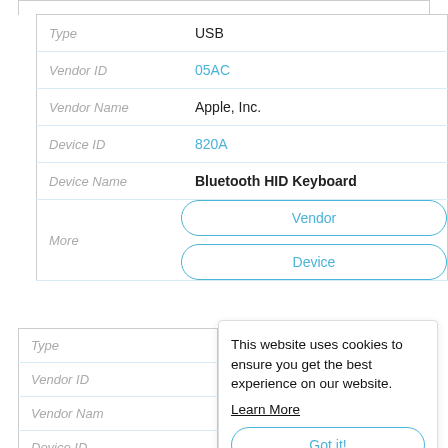| Field | Value |
| --- | --- |
| Type | USB |
| Vendor ID | 05AC |
| Vendor Name | Apple, Inc. |
| Device ID | 820A |
| Device Name | Bluetooth HID Keyboard |
| More | Vendor | Device |
| Field |
| --- |
| Type |
| Vendor ID |
| Vendor Nam |
| Device ID |
| Device Name |
This website uses cookies to ensure you get the best experience on our website.
Learn More
Got it!